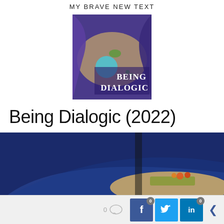MY BRAVE NEW TEXT
[Figure (photo): Book cover for 'Being Dialogic' showing abstract colorful art with text 'BEING DIALOGIC' in white on lower right]
Being Dialogic (2022)
[Figure (photo): Partial photo showing a plate of food with colorful garnishes on a dark blue background]
[Figure (other): Social sharing bar with comment icon showing 0, Facebook button with badge 0, Twitter button, LinkedIn button with badge 0, and a left arrow/share icon]